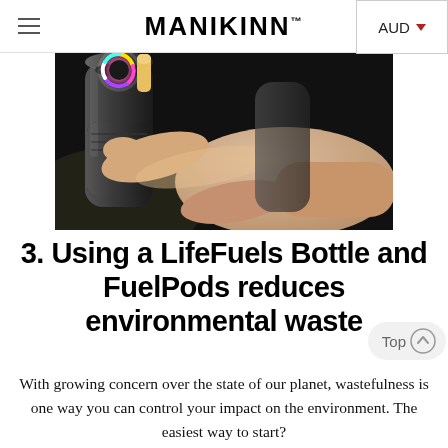MANIKINN™  AUD
[Figure (photo): A hand pressing a button on a dark cylindrical device (LifeFuels bottle) with a glowing colorful ring indicator, against a black background.]
3. Using a LifeFuels Bottle and FuelPods reduces environmental waste
With growing concern over the state of our planet, wastefulness is one way you can control your impact on the environment. The easiest way to start?